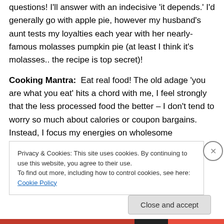questions! I'll answer with an indecisive 'it depends.' I'd generally go with apple pie, however my husband's aunt tests my loyalties each year with her nearly-famous molasses pumpkin pie (at least I think it's molasses.. the recipe is top secret)!
Cooking Mantra:  Eat real food! The old adage 'you are what you eat' hits a chord with me, I feel strongly that the less processed food the better – I don't tend to worry so much about calories or coupon bargains. Instead, I focus my energies on wholesome ingredients and avoiding preservatives or additives whenever possible.
Privacy & Cookies: This site uses cookies. By continuing to use this website, you agree to their use. To find out more, including how to control cookies, see here: Cookie Policy
Close and accept